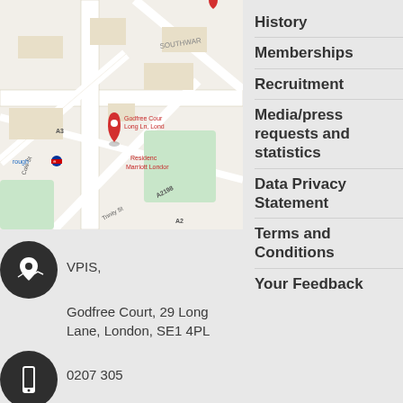[Figure (map): Google Maps screenshot showing Godfree Court, 29 Long Lane, London SE1 4PL area near Southwark, with a red location pin marker and street labels including A3, A2198, Cole St, Trinity St, A2. Shows nearby Residence Inn Marriott London and a London Underground station symbol.]
VPIS,
Godfree Court, 29 Long Lane, London, SE1 4PL
0207 305
History
Memberships
Recruitment
Media/press requests and statistics
Data Privacy Statement
Terms and Conditions
Your Feedback